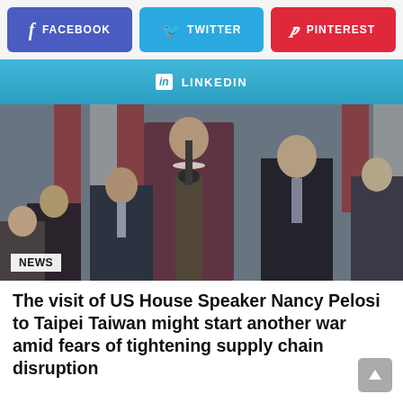[Figure (other): Social media share buttons row: Facebook (blue-purple), Twitter (light blue), Pinterest (red)]
[Figure (other): LinkedIn share button (cyan/blue gradient bar)]
[Figure (photo): Photo of a woman speaking at a podium with children surrounding her in what appears to be a legislative chamber with an American flag in the background. A 'NEWS' badge is overlaid in the lower left.]
The visit of US House Speaker Nancy Pelosi to Taipei Taiwan might start another war amid fears of tightening supply chain disruption